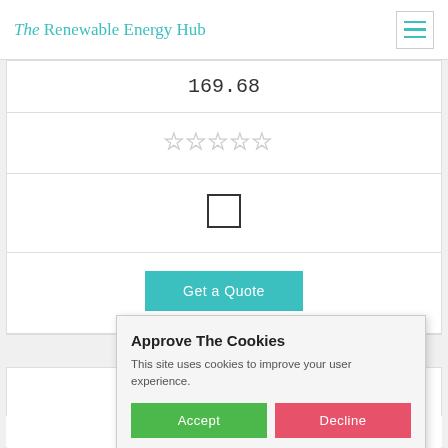The Renewable Energy Hub
169.68
[Figure (other): Five empty star rating icons (light gray, no fill)]
[Figure (other): Empty checkbox (square, black border)]
Get a Quote
Mississip...
211 Pope Road, Ca...
Approve The Cookies
This site uses cookies to improve your user experience.
Accept
Decline
Cookie policy
171.38